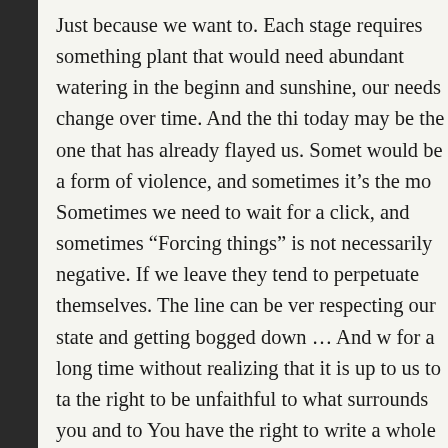Just because we want to. Each stage requires something plant that would need abundant watering in the beginn and sunshine, our needs change over time. And the thi today may be the one that has already flayed us. Somet would be a form of violence, and sometimes it's the mo Sometimes we need to wait for a click, and sometimes "Forcing things" is not necessarily negative. If we leave they tend to perpetuate themselves. The line can be ver respecting our state and getting bogged down ... And w for a long time without realizing that it is up to us to ta the right to be unfaithful to what surrounds you and to You have the right to write a whole new story and reinv day is not the day when you will become an improved one where you will be perfectly in harmony ... It is the d will have chosen.